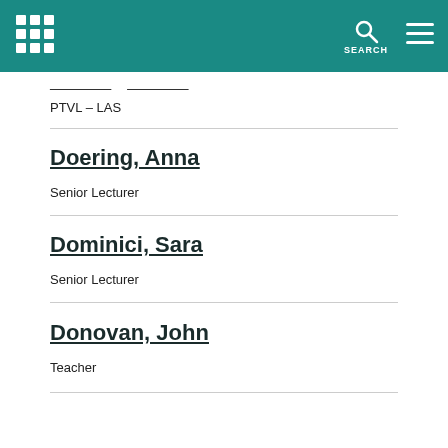SEARCH
PTVL - LAS
Doering, Anna
Senior Lecturer
Dominici, Sara
Senior Lecturer
Donovan, John
Teacher